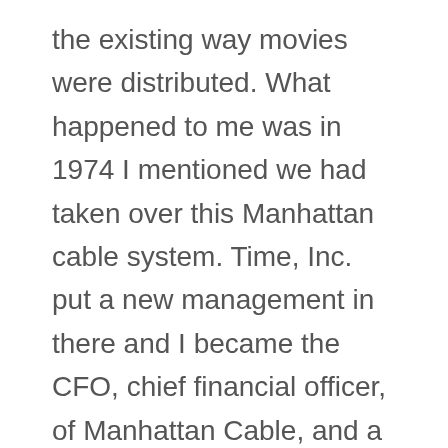the existing way movies were distributed. What happened to me was in 1974 I mentioned we had taken over this Manhattan cable system. Time, Inc. put a new management in there and I became the CFO, chief financial officer, of Manhattan Cable, and a fellow named Nick Nicholas became the CEO of it. We didn't have those titles then, but those are today's versions of the titles. I thought our mission was to make it look better and sell it. It was a very big cash drain on Time, Inc.; it was financially significant at the time and the company had been unable to do anything with it in terms of financial